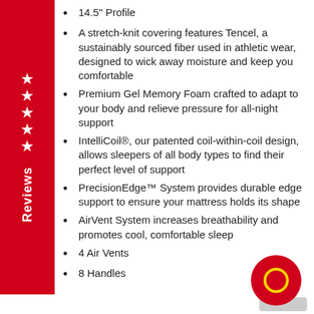14.5" Profile
A stretch-knit covering features Tencel, a sustainably sourced fiber used in athletic wear, designed to wick away moisture and keep you comfortable
Premium Gel Memory Foam crafted to adapt to your body and relieve pressure for all-night support
IntelliCoil®, our patented coil-within-coil design, allows sleepers of all body types to find their perfect level of support
PrecisionEdge™ System provides durable edge support to ensure your mattress holds its shape
AirVent System increases breathability and promotes cool, comfortable sleep
4 Air Vents
8 Handles
[Figure (logo): Red circle logo with yellow inner circle on dark red background, with a gray shadow rectangle behind it]